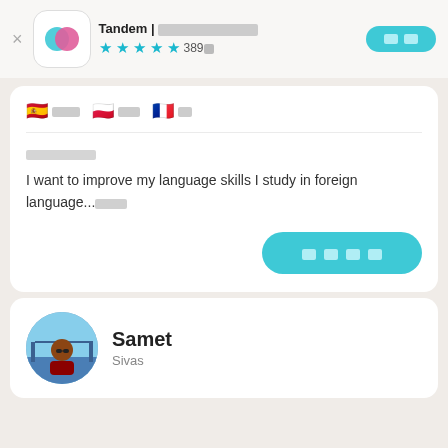Tandem | ???????????? 389? (rating: 4.5 stars)
???? ??? ??
????????
I want to improve my language skills I study in foreign language...????
????
Samet
Sivas